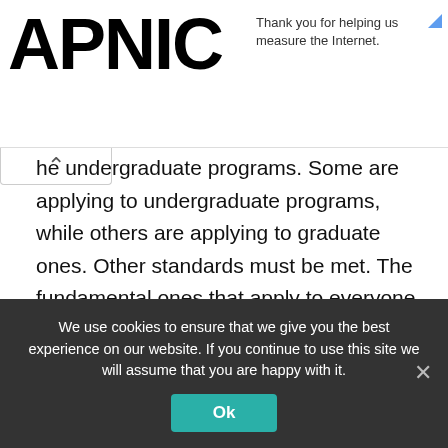APNIC
Thank you for helping us measure the Internet.
he undergraduate programs. Some are applying to undergraduate programs, while others are applying to graduate ones. Other standards must be met. The fundamental ones that apply to everyone have been listed.
In addition, applicants must pay a non-refundable fee of $110 for undergraduate students and $150 for MBA students.
We use cookies to ensure that we give you the best experience on our website. If you continue to use this site we will assume that you are happy with it.